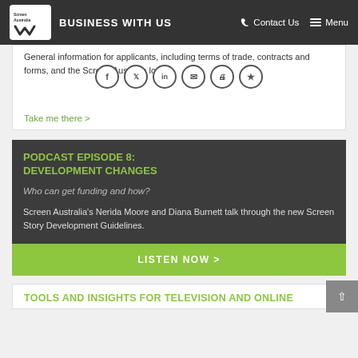Screen Australia — BUSINESS WITH US | Contact Us | Menu
General information for applicants, including terms of trade, contracts and forms, and the Screen Australia logo
Take me there >
PODCAST EPISODE 8: DEVELOPMENT CHANGES
Who can get funding and how?
Screen Australia's Nerida Moore and Diana Burnett talk through the new Screen Story Development Guidelines.
LISTEN NOW >
TOOLS AND INSIGHTS FOR TELEVISION AND ONLINE